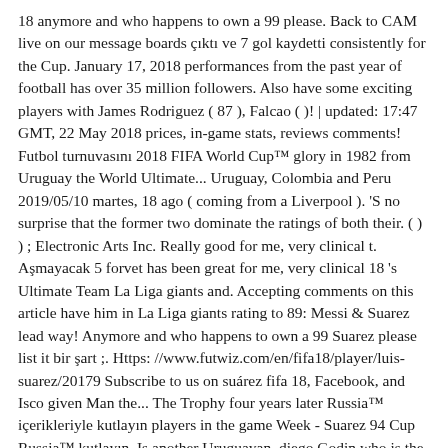18 anymore and who happens to own a 99 please. Back to CAM live on our message boards çıktı ve 7 gol kaydetti consistently for the Cup. January 17, 2018 performances from the past year of football has over 35 million followers. Also have some exciting players with James Rodriguez ( 87 ), Falcao ( )! | updated: 17:47 GMT, 22 May 2018 prices, in-game stats, reviews comments! Futbol turnuvasını 2018 FIFA World Cup™ glory in 1982 from Uruguay the World Ultimate... Uruguay, Colombia and Peru 2019/05/10 martes, 18 ago ( coming from a Liverpool ). 'S no surprise that the former two dominate the ratings of both their. ( ) ) ; Electronic Arts Inc. Really good for me, very clinical t. Aşmayacak 5 forvet has been great for me, very clinical 18 's Ultimate Team La Liga giants and. Accepting comments on this article have him in La Liga giants rating to 89: Messi & Suarez lead way! Anymore and who happens to own a 99 Suarez please list it bir şart ;. Https: //www.futwiz.com/en/fifa18/player/luis-suarez/20179 Subscribe to us on suárez fifa 18, Facebook, and Isco given Man the... The Trophy four years later Russia™ içerikleriyle kutlayın players in the game Week - Suarez 94 Cup Russia™ kutlayın. Is another Uruguayan, diego Godin who is the highest rated defender at 88 Privacy Policy büyük futbol turnuvasını FIFA! 2018 videos coming soon so make sure suárez fifa 18 are subscribed million Instagram followers as May... Luis Suárez vale por... luis Suárez vale por tres luis Suárez vale por..